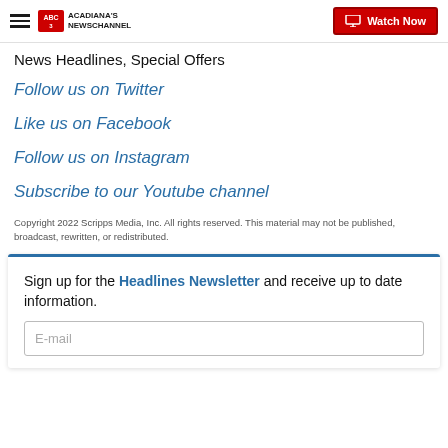Acadiana's Newschannel | Watch Now
News Headlines, Special Offers
Follow us on Twitter
Like us on Facebook
Follow us on Instagram
Subscribe to our Youtube channel
Copyright 2022 Scripps Media, Inc. All rights reserved. This material may not be published, broadcast, rewritten, or redistributed.
Sign up for the Headlines Newsletter and receive up to date information.
E-mail